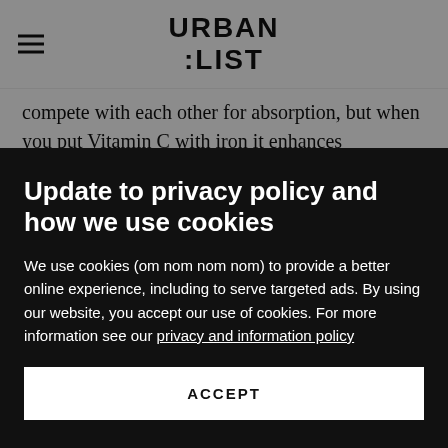URBAN LIST
compete with each other for absorption, but when you put Vitamin C with iron it enhances absorption.
You'll get ample minerals from things like root vegetables (because most of your natural minerals will come out of
Update to privacy policy and how we use cookies
We use cookies (om nom nom nom) to provide a better online experience, including to serve targeted ads. By using our website, you accept our use of cookies. For more information see our privacy and information policy
ACCEPT